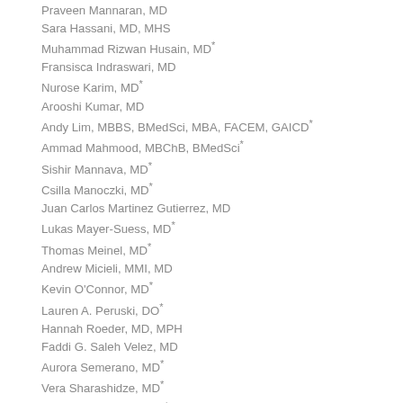Praveen Mannaran, MD
Sara Hassani, MD, MHS
Muhammad Rizwan Husain, MD*
Fransisca Indraswari, MD
Nurose Karim, MD*
Arooshi Kumar, MD
Andy Lim, MBBS, BMedSci, MBA, FACEM, GAICD*
Ammad Mahmood, MBChB, BMedSci*
Sishir Mannava, MD*
Csilla Manoczki, MD*
Juan Carlos Martinez Gutierrez, MD
Lukas Mayer-Suess, MD*
Thomas Meinel, MD*
Andrew Micieli, MMI, MD
Kevin O'Connor, MD*
Lauren A. Peruski, DO*
Hannah Roeder, MD, MPH
Faddi G. Saleh Velez, MD
Aurora Semerano, MD*
Vera Sharashidze, MD*
Kristina Shkirkova, BSc*
Meghana Srinivas, MD
Burton J. Tabaac, MD*